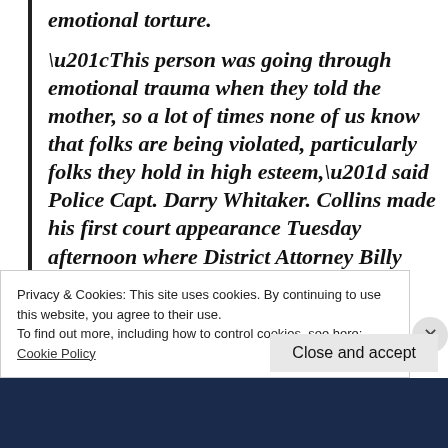emotional torture.
“This person was going through emotional trauma when they told the mother, so a lot of times none of us know that folks are being violated, particularly folks they hold in high esteem,” said Police Capt. Darry Whitaker. Collins made his first court appearance Tuesday afternoon where District Attorney Billy West requested
Privacy & Cookies: This site uses cookies. By continuing to use this website, you agree to their use.
To find out more, including how to control cookies, see here:
Cookie Policy
Close and accept